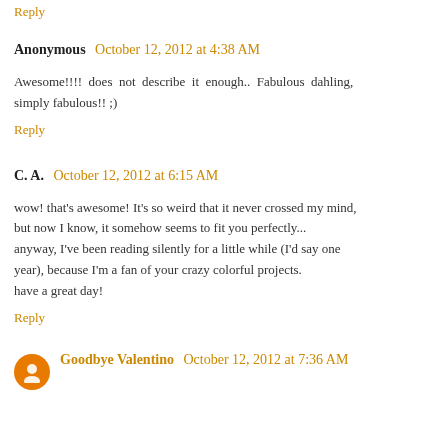Reply
Anonymous  October 12, 2012 at 4:38 AM
Awesome!!!!  does  not  describe  it  enough..  Fabulous  dahling, simply fabulous!! ;)
Reply
C. A.  October 12, 2012 at 6:15 AM
wow! that's awesome! It's so weird that it never crossed my mind, but now I know, it somehow seems to fit you perfectly...
anyway, I've been reading silently for a little while (I'd say one year), because I'm a fan of your crazy colorful projects.
have a great day!
Reply
Goodbye Valentino  October 12, 2012 at 7:36 AM